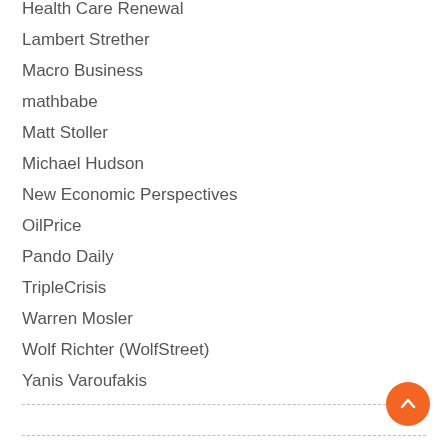Health Care Renewal
Lambert Strether
Macro Business
mathbabe
Matt Stoller
Michael Hudson
New Economic Perspectives
OilPrice
Pando Daily
TripleCrisis
Warren Mosler
Wolf Richter (WolfStreet)
Yanis Varoufakis
Copyright © 2006 - 2022 Aurora Advisors Incorporated All Rights Reserved | Privacy Policy | Do Not Sell My Personal